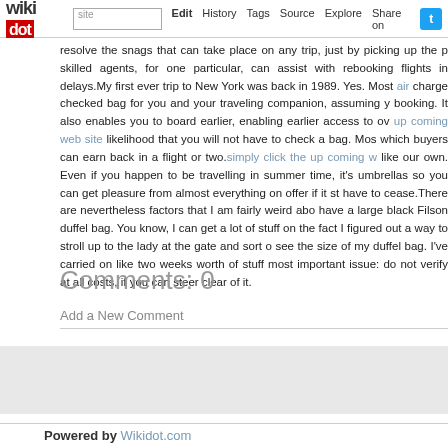wikidot | site | Edit | History | Tags | Source | Explore | Share on [Twitter]
resolve the snags that can take place on any trip, just by picking up the p skilled agents, for one particular, can assist with rebooking flights in delays.My first ever trip to New York was back in 1989. Yes. Most air charge checked bag for you and your traveling companion, assuming y booking. It also enables you to board earlier, enabling earlier access to ov up coming web site likelihood that you will not have to check a bag. Mos which buyers can earn back in a flight or two.simply click the up coming w like our own. Even if you happen to be travelling in summer time, it's umbrellas so you can get pleasure from almost everything on offer if it st have to cease.There are nevertheless factors that I am fairly weird abo have a large black Filson duffel bag. You know, I can get a lot of stuff on the fact I figured out a way to stroll up to the lady at the gate and sort o see the size of my duffel bag. I've carried on like two weeks worth of stuff most important issue: do not verify at all costs, if you can steer clear of it.
Comments: 0
Add a New Comment
page revis | Edit | Tags | History
Powered by Wikidot.com
Unless otherwise stated, the content of this page is lice